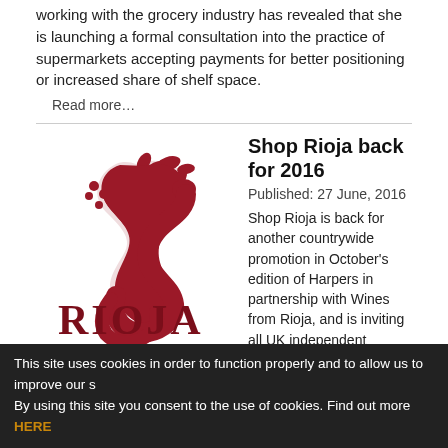working with the grocery industry has revealed that she is launching a formal consultation into the practice of supermarkets accepting payments for better positioning or increased share of shelf space.
Read more…
[Figure (logo): Rioja wine logo - red decorative bird/dragon shape above bold red text reading RIOJA]
Shop Rioja back for 2016
Published:  27 June, 2016
Shop Rioja is back for another countrywide promotion in October's edition of Harpers in partnership with Wines from Rioja, and is inviting all UK independent merchants to take part.
Read more…
This site uses cookies in order to function properly and to allow us to improve our s. By using this site you consent to the use of cookies. Find out more HERE